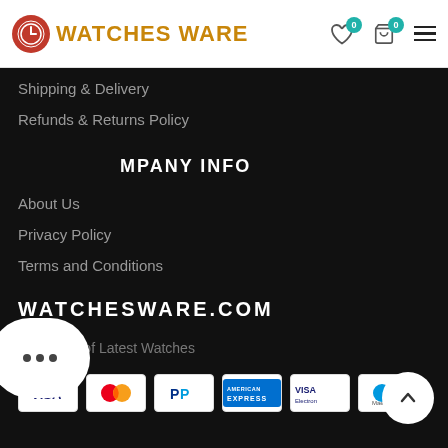WATCHES WARE
Shipping & Delivery
Refunds & Returns Policy
COMPANY INFO
About Us
Privacy Policy
Terms and Conditions
WATCHESWARE.COM
Collection of Latest Watches
[Figure (other): Payment method logos: Visa, Mastercard, PayPal, American Express, Visa Electron, Maestro]